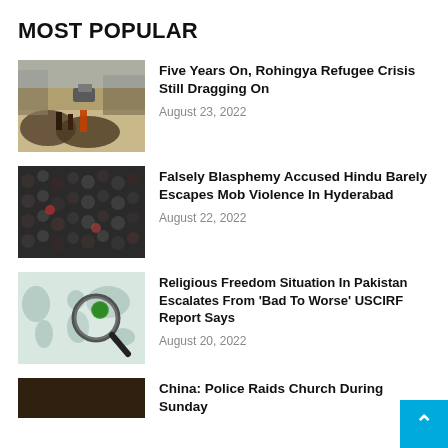MOST POPULAR
[Figure (photo): Rohingya refugees, crowd of people on a dusty road with vehicles and structures]
Five Years On, Rohingya Refugee Crisis Still Dragging On
August 23, 2022
[Figure (photo): Large crowd of people packed together, seen from above]
Falsely Blasphemy Accused Hindu Barely Escapes Mob Violence In Hyderabad
August 22, 2022
[Figure (photo): World map with magnifying glass highlighting Pakistan in green]
Religious Freedom Situation In Pakistan Escalates From 'Bad To Worse' USCIRF Report Says
August 20, 2022
[Figure (photo): Dark-toned photo, partial, partially cut off at bottom]
China: Police Raids Church During Sunday